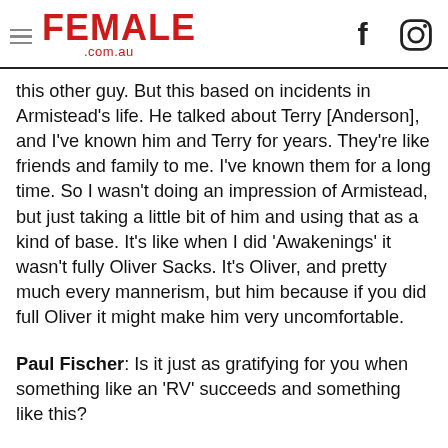FEMALE .com.au
this other guy. But this based on incidents in Armistead's life. He talked about Terry [Anderson], and I've known him and Terry for years. They're like friends and family to me. I've known them for a long time. So I wasn't doing an impression of Armistead, but just taking a little bit of him and using that as a kind of base. It's like when I did 'Awakenings' it wasn't fully Oliver Sacks. It's Oliver, and pretty much every mannerism, but him because if you did full Oliver it might make him very uncomfortable.
Paul Fischer: Is it just as gratifying for you when something like an 'RV' succeeds and something like this?
Robin Williams: Oh yeah. The fact that 'RV' survived the initial maelstrom and then kept going is wonderful. And then